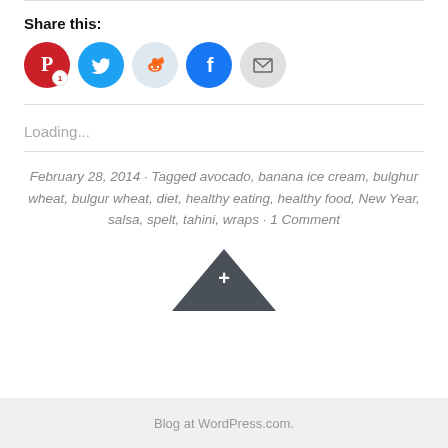Share this:
[Figure (other): Social sharing icons: Pinterest (with badge 1), Twitter, Reddit, Facebook, Email]
Loading...
February 28, 2014 · Tagged avocado, banana ice cream, bulghur wheat, bulgur wheat, diet, healthy eating, healthy food, New Year, salsa, spelt, tahini, wraps · 1 Comment
[Figure (other): Dark triangle/arrow button with a plus sign]
Blog at WordPress.com.